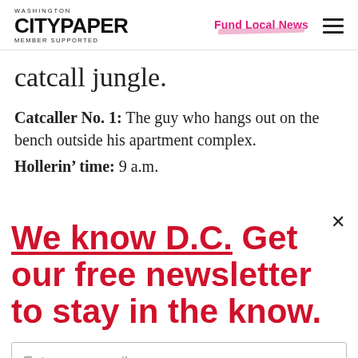WASHINGTON CITYPAPER MEMBER SUPPORTED | Fund Local News
catcall jungle.
Catcaller No. 1: The guy who hangs out on the bench outside his apartment complex.
Hollerin’ time: 9 a.m.
[Figure (screenshot): Newsletter signup popup overlay with text 'We know D.C. Get our free newsletter to stay in the know.' and an email input field.]